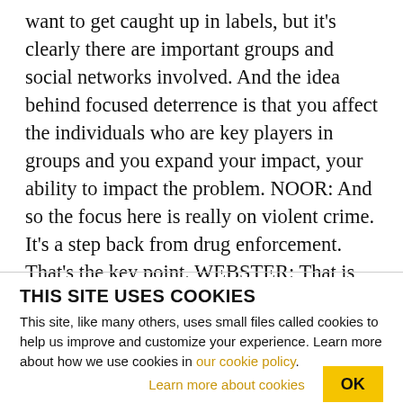want to get caught up in labels, but it's clearly there are important groups and social networks involved. And the idea behind focused deterrence is that you affect the individuals who are key players in groups and you expand your impact, your ability to impact the problem. NOOR: And so the focus here is really on violent crime. It's a step back from drug enforcement. That's the key point. WEBSTER: That is the theory. Yes. So, whether that's always been carried out exactly in the best way in Baltimore and other places is a separate question. But the idea is
THIS SITE USES COOKIES
This site, like many others, uses small files called cookies to help us improve and customize your experience. Learn more about how we use cookies in our cookie policy.
Learn more about cookies   OK